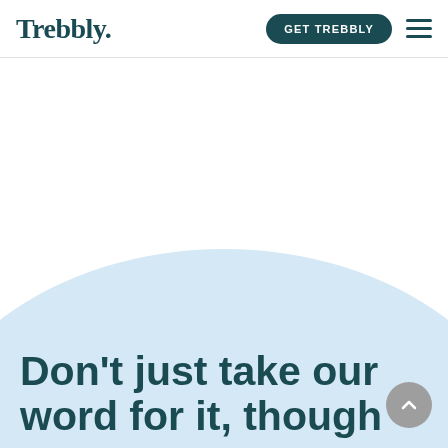Trebbly.
[Figure (illustration): Light blue rounded dome/blob shape as background decoration in the hero section]
Don't just take our word for it, though –